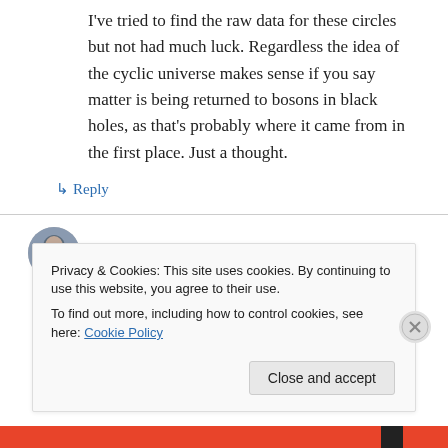I've tried to find the raw data for these circles but not had much luck. Regardless the idea of the cyclic universe makes sense if you say matter is being returned to bosons in black holes, as that's probably where it came from in the first place. Just a thought.
↳ Reply
Dov Henis on October 20, 2014 at 6:59 pm
Evolution Derives From Gravity, in Hebrew and...
Privacy & Cookies: This site uses cookies. By continuing to use this website, you agree to their use.
To find out more, including how to control cookies, see here: Cookie Policy
Close and accept